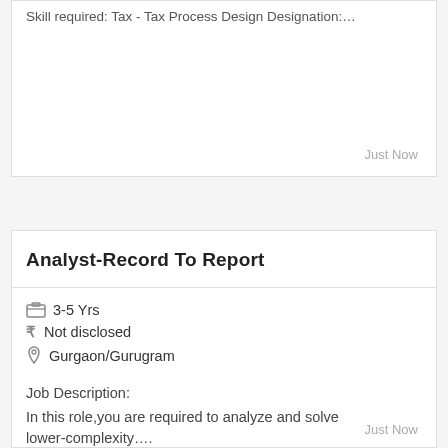Skill required: Tax - Tax Process Design Designation:…
Just Now
Analyst-Record To Report
3-5 Yrs
₹ Not disclosed
Gurgaon/Gurugram
Job Description:
In this role,you are required to analyze and solve lower-complexity….
Just Now